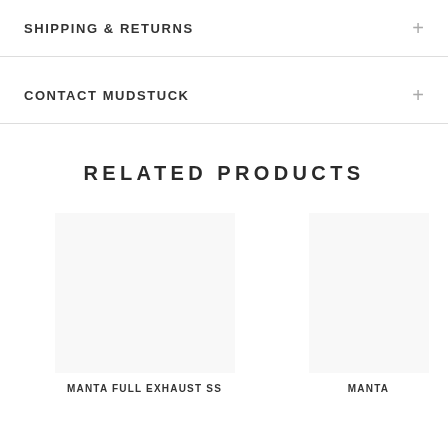SHIPPING & RETURNS
CONTACT MUDSTUCK
RELATED PRODUCTS
MANTA FULL EXHAUST SS
MANTA